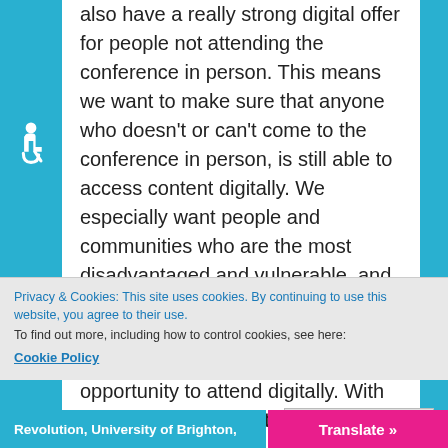also have a really strong digital offer for people not attending the conference in person. This means we want to make sure that anyone who doesn't or can't come to the conference in person, is still able to access content digitally. We especially want people and communities who are the most disadvantaged and vulnerable, and those of us who find this stuff hard, and those of us who don't have easy access to IT, to be offered the opportunity to attend digitally. With this in mind, the Digital
Privacy & Cookies: This site uses cookies. By continuing to use this website, you agree to their use.
To find out more, including how to control cookies, see here:
Cookie Policy
Close and accept
Revolution, University of Brighton,
Translate »